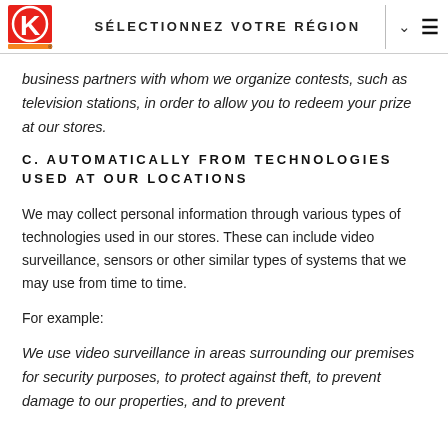SÉLECTIONNEZ VOTRE RÉGION
business partners with whom we organize contests, such as television stations, in order to allow you to redeem your prize at our stores.
C. AUTOMATICALLY FROM TECHNOLOGIES USED AT OUR LOCATIONS
We may collect personal information through various types of technologies used in our stores. These can include video surveillance, sensors or other similar types of systems that we may use from time to time.
For example:
We use video surveillance in areas surrounding our premises for security purposes, to protect against theft, to prevent damage to our properties, and to prevent